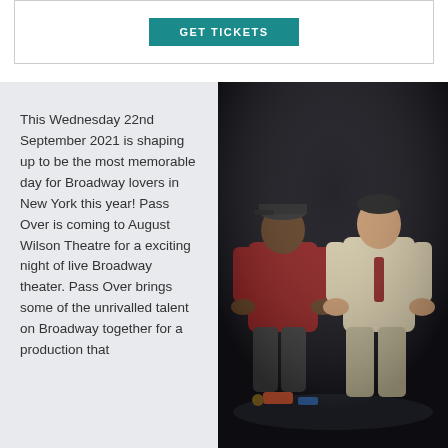[Figure (other): GET TICKETS button in teal/dark cyan color on white background with border]
This Wednesday 22nd September 2021 is shaping up to be the most memorable day for Broadway lovers in New York this year! Pass Over is coming to August Wilson Theatre for a exciting night of live Broadway theater. Pass Over brings some of the unrivalled talent on Broadway together for a production that
[Figure (photo): Two male actors seated on a stage set in theatrical lighting — one in a dark red hoodie and cap, the other in a light-colored suit with a tie, both sitting close together on what appears to be steps or a curb with props around them]